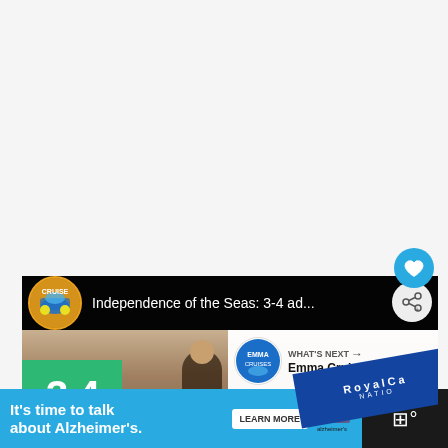[Figure (screenshot): White/light gray background area at top of page, mostly blank]
[Figure (screenshot): Video player interface showing 'Independence of the Seas: 3-4 ad...' with channel icon, share button, heart/favorite button, What's Next overlay showing Emma Cruises, video thumbnail with 3-4 green overlay and Royal Caribbean diagonal banner. Ad banner at bottom: It's time to talk about Alzheimer's with LEARN MORE button and Alzheimer's Association logo. Right dark section with audio icon.]